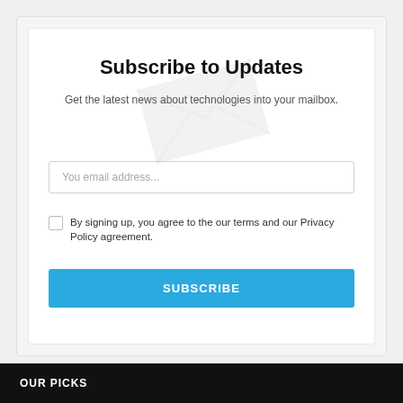Subscribe to Updates
Get the latest news about technologies into your mailbox.
You email address...
By signing up, you agree to the our terms and our Privacy Policy agreement.
SUBSCRIBE
OUR PICKS